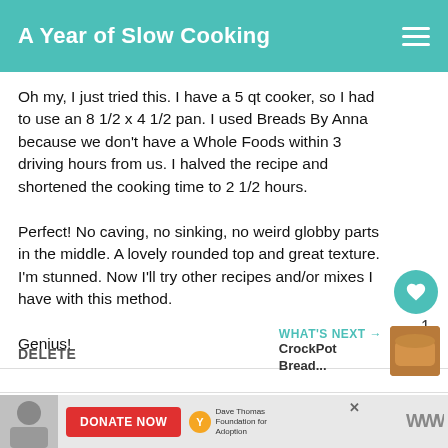A Year of Slow Cooking
Oh my, I just tried this. I have a 5 qt cooker, so I had to use an 8 1/2 x 4 1/2 pan. I used Breads By Anna because we don't have a Whole Foods within 3 driving hours from us. I halved the recipe and shortened the cooking time to 2 1/2 hours.

Perfect! No caving, no sinking, no weird globby parts in the middle. A lovely rounded top and great texture. I'm stunned. Now I'll try other recipes and/or mixes I have with this method.

Genius!
DELETE
WHAT'S NEXT → CrockPot Bread...
[Figure (other): Advertisement banner: Donate Now button with Dave Thomas Foundation for Adoption logo and WW logo]